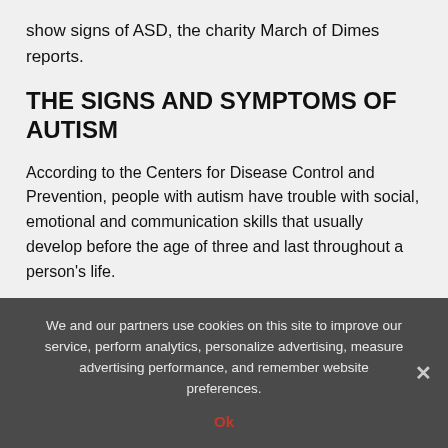show signs of ASD, the charity March of Dimes reports.
THE SIGNS AND SYMPTOMS OF AUTISM
According to the Centers for Disease Control and Prevention, people with autism have trouble with social, emotional and communication skills that usually develop before the age of three and last throughout a person’s life.
Specific signs of autism include:
Reactions to smell, taste, look, feel or sound are
We and our partners use cookies on this site to improve our service, perform analytics, personalize advertising, measure advertising performance, and remember website preferences.
Ok